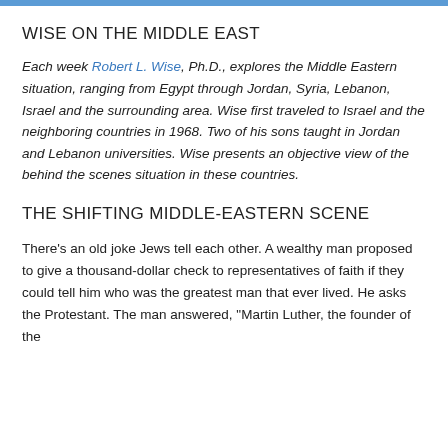WISE ON THE MIDDLE EAST
Each week Robert L. Wise, Ph.D., explores the Middle Eastern situation, ranging from Egypt through Jordan, Syria, Lebanon, Israel and the surrounding area. Wise first traveled to Israel and the neighboring countries in 1968. Two of his sons taught in Jordan and Lebanon universities. Wise presents an objective view of the behind the scenes situation in these countries.
THE SHIFTING MIDDLE-EASTERN SCENE
There’s an old joke Jews tell each other. A wealthy man proposed to give a thousand-dollar check to representatives of faith if they could tell him who was the greatest man that ever lived. He asks the Protestant. The man answered, “Martin Luther, the founder of the